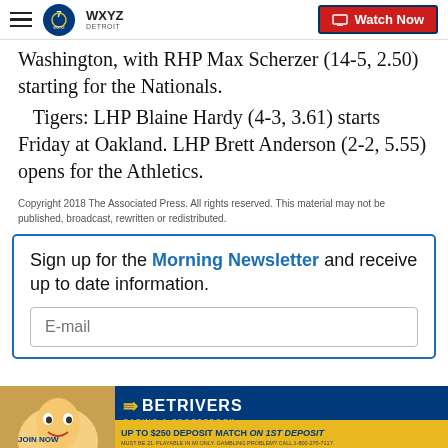WXYZ Detroit | Watch Now
Washington, with RHP Max Scherzer (14-5, 2.50) starting for the Nationals.
Tigers: LHP Blaine Hardy (4-3, 3.61) starts Friday at Oakland. LHP Brett Anderson (2-2, 5.55) opens for the Athletics.
Copyright 2018 The Associated Press. All rights reserved. This material may not be published, broadcast, rewritten or redistributed.
Sign up for the Morning Newsletter and receive up to date information.
[Figure (screenshot): BetRivers Casino & Sportsbook advertisement banner: Join Now - Up to $250 Deposit Match on 1st Deposit]